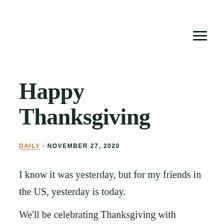[Figure (other): Hamburger menu icon (three horizontal lines) in top-right corner]
Happy Thanksgiving
DAILY · NOVEMBER 27, 2020
I know it was yesterday, but for my friends in the US, yesterday is today.
We'll be celebrating Thanksgiving with friends a little later